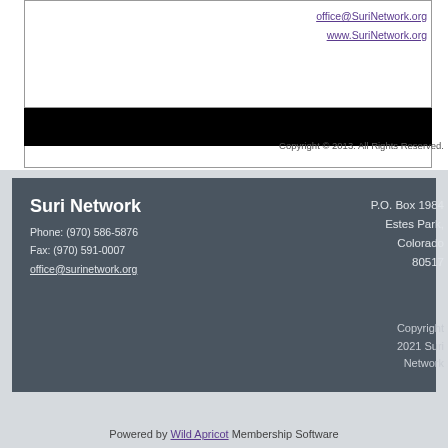office@SuriNetwork.org
www.SuriNetwork.org
Copyright © 2013. All Rights Reserved.
Suri Network
Phone: (970) 586-5876
Fax: (970) 591-0007
office@surinetwork.org
P.O. Box 1984
Estes Park,
Colorado
80517
Copyright 2021 Suri Network
Powered by Wild Apricot Membership Software